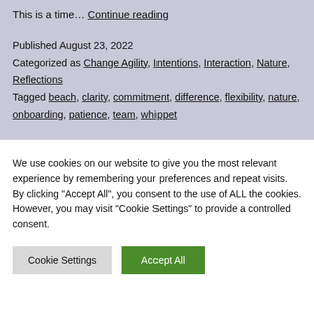This is a time… Continue reading
Published August 23, 2022
Categorized as Change Agility, Intentions, Interaction, Nature, Reflections
Tagged beach, clarity, commitment, difference, flexibility, nature, onboarding, patience, team, whippet
We use cookies on our website to give you the most relevant experience by remembering your preferences and repeat visits. By clicking "Accept All", you consent to the use of ALL the cookies. However, you may visit "Cookie Settings" to provide a controlled consent.